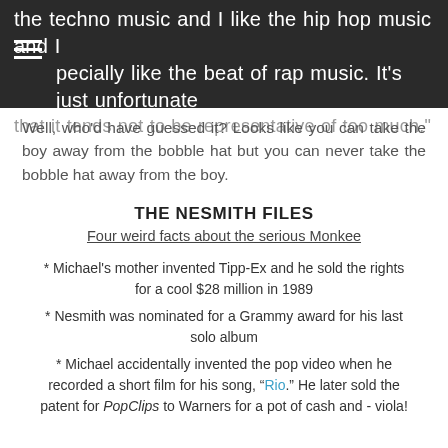the techno music and I like the hip hop music and I especially like the beat of rap music. It's just unfortunate that it tends not to be representative of too much."
Well, who'd have guessed it? Looks like you can take the boy away from the bobble hat but you can never take the bobble hat away from the boy.
THE NESMITH FILES
Four weird facts about the serious Monkee
* Michael's mother invented Tipp-Ex and he sold the rights for a cool $28 million in 1989
* Nesmith was nominated for a Grammy award for his last solo album
* Michael accidentally invented the pop video when he recorded a short film for his song, "Rio." He later sold the patent for PopClips to Warners for a pot of cash and - viola!